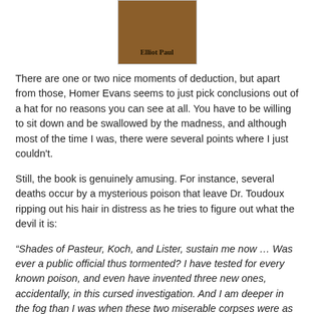[Figure (illustration): Partial view of a book cover with brown background and bold text reading 'Elliot Paul']
There are one or two nice moments of deduction, but apart from those, Homer Evans seems to just pick conclusions out of a hat for no reasons you can see at all. You have to be willing to sit down and be swallowed by the madness, and although most of the time I was, there were several points where I just couldn't.
Still, the book is genuinely amusing. For instance, several deaths occur by a mysterious poison that leave Dr. Toudoux ripping out his hair in distress as he tries to figure out what the devil it is:
“Shades of Pasteur, Koch, and Lister, sustain me now … Was ever a public official thus tormented? I have tested for every known poison, and even have invented three new ones, accidentally, in this cursed investigation. And I am deeper in the fog than I was when these two miserable corpses were as warm as Anglo-Saxons ever get.”